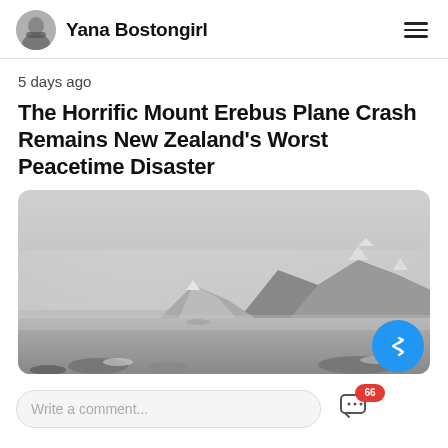Yana Bostongirl
5 days ago
The Horrific Mount Erebus Plane Crash Remains New Zealand's Worst Peacetime Disaster
[Figure (photo): Black and white landscape photo of a snowy mountain range reflected in a calm body of water, misty and atmospheric.]